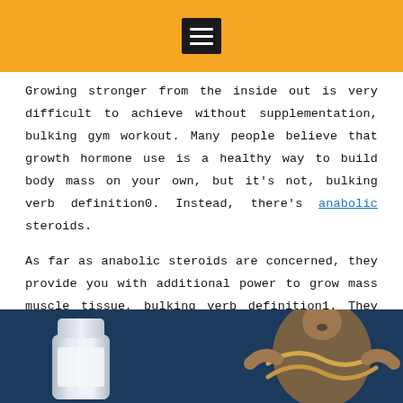[hamburger menu icon]
Growing stronger from the inside out is very difficult to achieve without supplementation, bulking gym workout. Many people believe that growth hormone use is a healthy way to build body mass on your own, but it’s not, bulking verb definition0. Instead, there’s anabolic steroids.
As far as anabolic steroids are concerned, they provide you with additional power to grow mass muscle tissue, bulking verb definition1. They increase your body’s production of growth hormone, and if you take growth hormone regularly, your body will grow bigger and stronger quicker than your body would normally get from gaining muscle, crazy growth stack bulk.
[Figure (photo): Product photo showing a white supplement bottle on the left side and a muscular man straining against ropes on the right, both against a dark navy blue background.]